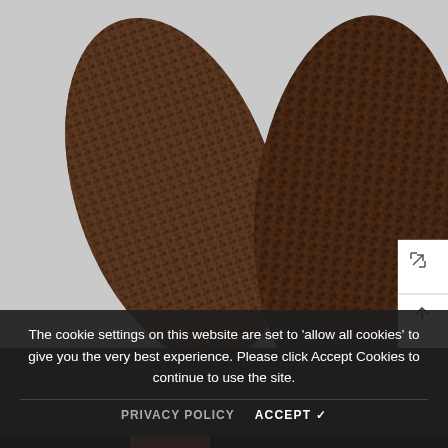[Figure (photo): Two leaf-shaped or teardrop-shaped pieces of dark brown hammered/textured copper or bronze metal, displayed on a light grey background. The left piece is slightly smaller and tilted, the right piece is larger and more vertical.]
The cookie settings on this website are set to 'allow all cookies' to give you the very best experience. Please click Accept Cookies to continue to use the site.
PRIVACY POLICY   ACCEPT ✓